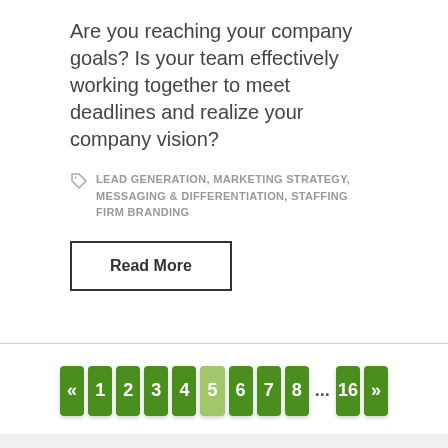Are you reaching your company goals? Is your team effectively working together to meet deadlines and realize your company vision?
LEAD GENERATION, MARKETING STRATEGY, MESSAGING & DIFFERENTIATION, STAFFING FIRM BRANDING
Read More
[Figure (other): Pagination navigation with green buttons: «, 1, 2, 3, 4, 5 (current/lighter), 6, 7, 8, ..., 16, »]
SEARCH
Search